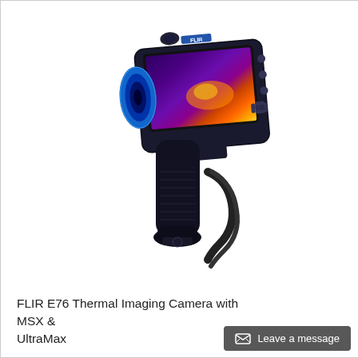[Figure (photo): FLIR E76 thermal imaging camera shown at an angle, displaying a thermal image (purple, orange, yellow hues) on its LCD screen. The camera has a black body with a pistol-grip handle, blue accent ring around the lens, control buttons, and a wrist strap.]
FLIR E76 Thermal Imaging Camera with MSX & UltraMax